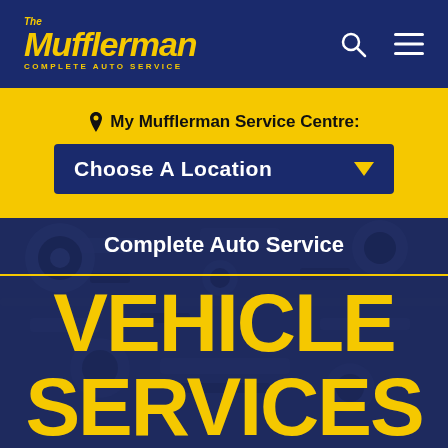[Figure (logo): The Mufflerman Complete Auto Service logo in yellow italic text on dark navy blue navigation bar]
My Mufflerman Service Centre:
Choose A Location
Complete Auto Service
VEHICLE SERVICES